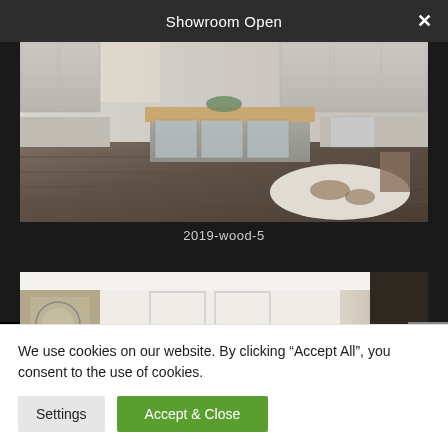Showroom Open
[Figure (photo): Kitchen showroom photo showing a modern kitchen island with glass cabinet doors, wood countertop, and dark wood flooring with a cowhide rug]
2019-wood-5
[Figure (photo): Interior room photo showing white walls, modern cabinetry in warm wood tones, and a dark door panel]
We use cookies on our website. By clicking “Accept All”, you consent to the use of cookies.
Settings
Accept & Close